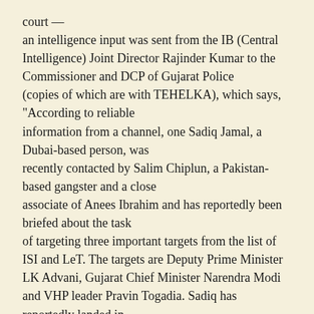court — an intelligence input was sent from the IB (Central Intelligence) Joint Director Rajinder Kumar to the Commissioner and DCP of Gujarat Police (copies of which are with TEHELKA), which says, "According to reliable information from a channel, one Sadiq Jamal, a Dubai-based person, was recently contacted by Salim Chiplun, a Pakistan-based gangster and a close associate of Anees Ibrahim and has reportedly been briefed about the task of targeting three important targets from the list of ISI and LeT. The targets are Deputy Prime Minister LK Advani, Gujarat Chief Minister Narendra Modi and VHP leader Pravin Togadia. Sadiq has reportedly landed in Mumbai and it is learnt that he has vowed to finish off the first available target during the ensuing Assembly election. He has been reportedly